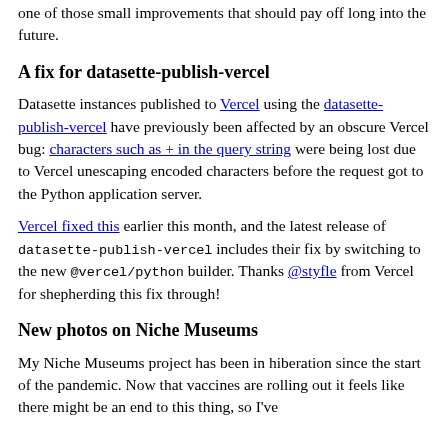one of those small improvements that should pay off long into the future.
A fix for datasette-publish-vercel
Datasette instances published to Vercel using the datasette-publish-vercel have previously been affected by an obscure Vercel bug: characters such as + in the query string were being lost due to Vercel unescaping encoded characters before the request got to the Python application server.
Vercel fixed this earlier this month, and the latest release of datasette-publish-vercel includes their fix by switching to the new @vercel/python builder. Thanks @styfle from Vercel for shepherding this fix through!
New photos on Niche Museums
My Niche Museums project has been in hiberation since the start of the pandemic. Now that vaccines are rolling out it feels like there might be an end to this thing, so I've